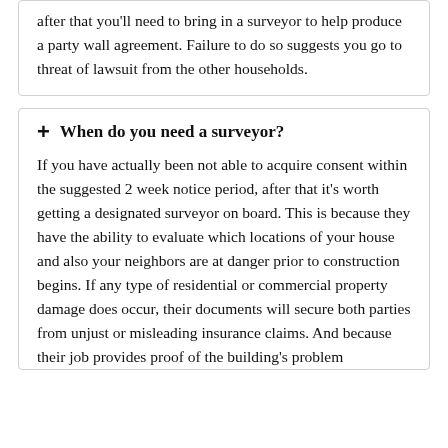after that you'll need to bring in a surveyor to help produce a party wall agreement. Failure to do so suggests you go to threat of lawsuit from the other households.
+ When do you need a surveyor?
If you have actually been not able to acquire consent within the suggested 2 week notice period, after that it's worth getting a designated surveyor on board. This is because they have the ability to evaluate which locations of your house and also your neighbors are at danger prior to construction begins. If any type of residential or commercial property damage does occur, their documents will secure both parties from unjust or misleading insurance claims. And because their job provides proof of the building's problem